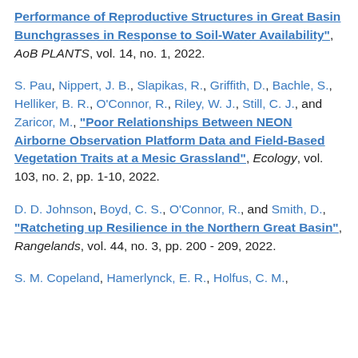Performance of Reproductive Structures in Great Basin Bunchgrasses in Response to Soil-Water Availability", AoB PLANTS, vol. 14, no. 1, 2022.
S. Pau, Nippert, J. B., Slapikas, R., Griffith, D., Bachle, S., Helliker, B. R., O'Connor, R., Riley, W. J., Still, C. J., and Zaricor, M., "Poor Relationships Between NEON Airborne Observation Platform Data and Field-Based Vegetation Traits at a Mesic Grassland", Ecology, vol. 103, no. 2, pp. 1-10, 2022.
D. D. Johnson, Boyd, C. S., O'Connor, R., and Smith, D., "Ratcheting up Resilience in the Northern Great Basin", Rangelands, vol. 44, no. 3, pp. 200 - 209, 2022.
S. M. Copeland, Hamerlynck, E. R., Holfus, C. M., ...